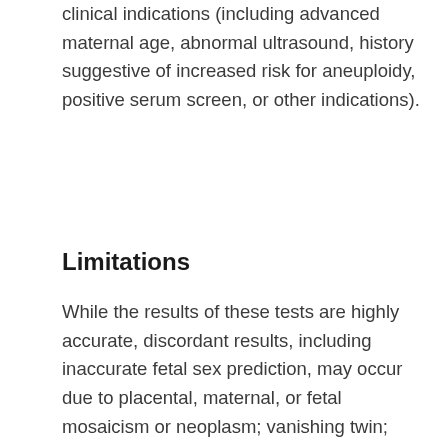clinical indications (including advanced maternal age, abnormal ultrasound, history suggestive of increased risk for aneuploidy, positive serum screen, or other indications).
Limitations
While the results of these tests are highly accurate, discordant results, including inaccurate fetal sex prediction, may occur due to placental, maternal, or fetal mosaicism or neoplasm; vanishing twin; prior maternal organ transplant; or other causes. Sex chromosomal aneuploidies are not reportable for known multiple gestations. MaterniT Genome assay is not validated for multifetal gestations; multifetal samples are excluded from the resequencing pathway. These tests are screening tests and not diagnostic; they do not replace the accuracy and precision of prenatal diagnosis with CVS